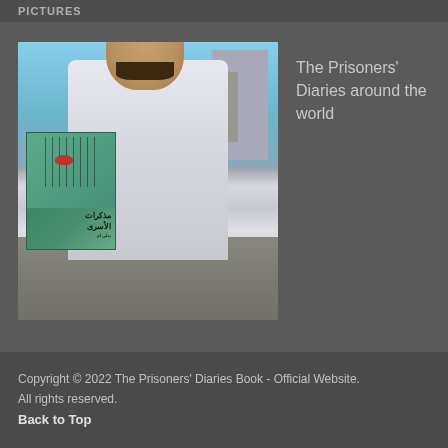PICTURES
[Figure (photo): A man holding a book with Arabic text (مذكرات الأسرى) and an illustration of a birdcage, standing outdoors in front of city buildings on a sunny day.]
The Prisoners' Diaries around the world
Copyright © 2022 The Prisoners' Diaries Book - Official Website. All rights reserved.
Back to Top